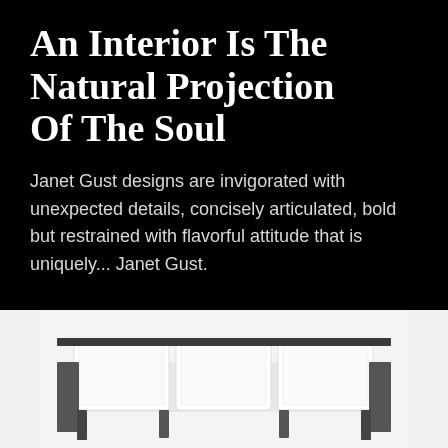An Interior Is The Natural Projection Of The Soul
Janet Gust designs are invigorated with unexpected details, concisely articulated, bold but restrained with flavorful attitude that is uniquely... Janet Gust.
[Figure (illustration): Bottom portion of a white modern sofa with dark wooden legs on a white/light gray background]